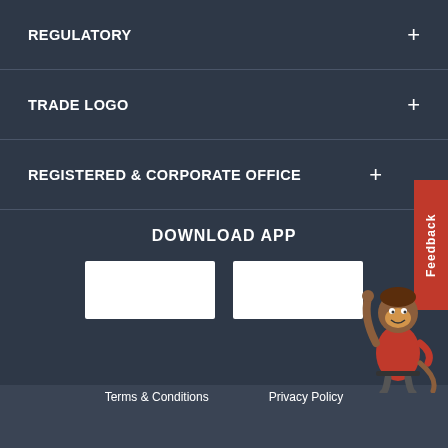REGULATORY
TRADE LOGO
REGISTERED & CORPORATE OFFICE
DOWNLOAD APP
[Figure (illustration): Two white app store download buttons (Google Play and App Store) side by side]
[Figure (illustration): Animated monkey mascot character in red shirt waving]
Terms & Conditions    Privacy Policy